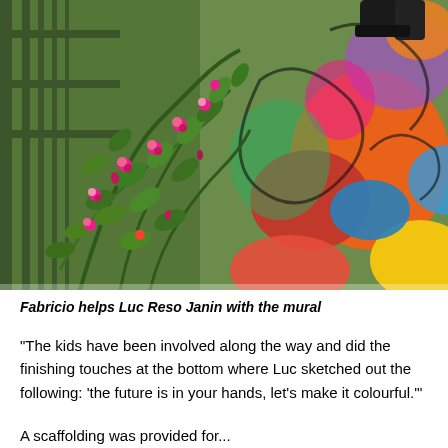[Figure (photo): A person helping paint a colorful mural. In the foreground are green plants with pink/red flowers. On the right side is a vibrant colorful mural with orange, yellow, red, blue and purple abstract shapes. Black scaffolding or fence is visible on the left. A person's feet in black shoes are visible at the top right.]
Fabricio helps Luc Reso Janin with the mural
“The kids have been involved along the way and did the finishing touches at the bottom where Luc sketched out the following: ‘the future is in your hands, let’s make it colourful.’”
A scaffolding was provided for...